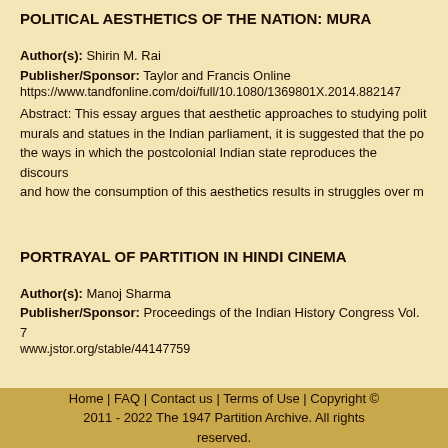POLITICAL AESTHETICS OF THE NATION: MURA...
Author(s): Shirin M. Rai
Publisher/Sponsor: Taylor and Francis Online
https://www.tandfonline.com/doi/full/10.1080/1369801X.2014.882147
Abstract: This essay argues that aesthetic approaches to studying polit... murals and statues in the Indian parliament, it is suggested that the po... the ways in which the postcolonial Indian state reproduces the discours... and how the consumption of this aesthetics results in struggles over m...
PORTRAYAL OF PARTITION IN HINDI CINEMA
Author(s): Manoj Sharma
Publisher/Sponsor: Proceedings of the Indian History Congress Vol. 7...
www.jstor.org/stable/44147759
POST PARTITION REFUGEE REHABILITATIONIN...
Home | FAQ | Contact us | Terms of Use | Copyright © 2011 - 2022 The 1947 Partition Archive. All rights reserved.